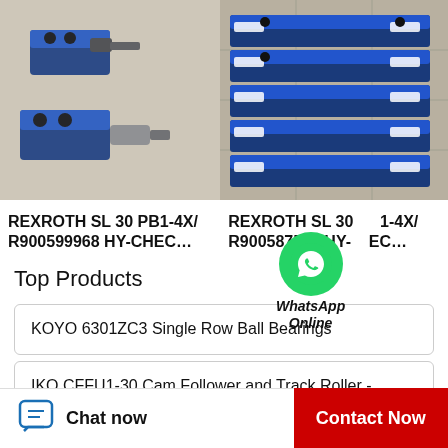[Figure (photo): Two blue Rexroth hydraulic check valves on a wooden surface with plastic packaging]
[Figure (photo): Multiple blue Rexroth hydraulic solenoid directional control valves stacked on a tiled floor]
REXROTH SL 30 PB1-4X/ R900599968 HY-CHEC…
REXROTH SL 30 PB1-4X/ R900587559 HY-EC…
[Figure (logo): Green WhatsApp circle icon with phone handset symbol]
WhatsApp Online
Top Products
KOYO 6301ZC3 Single Row Ball Bearings
IKO CFFU1-30 Cam Follower and Track Roller - Stud Type
Chat now
Contact Now